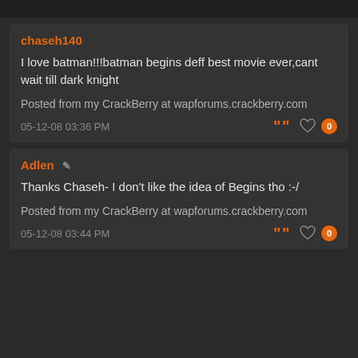chaseh140
I love batman!!!batman begins deff best movie ever,cant wait till dark knight

Posted from my CrackBerry at wapforums.crackberry.com
05-12-08 03:36 PM
Adlen
Thanks Chaseh- I don't like the idea of Begins tho :-/

Posted from my CrackBerry at wapforums.crackberry.com
05-12-08 03:44 PM